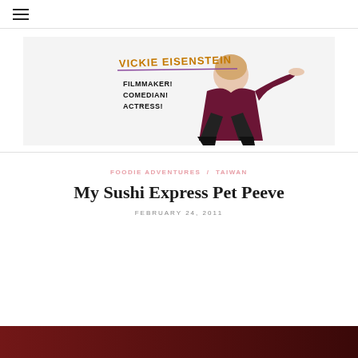≡ (hamburger menu)
[Figure (photo): Banner image for Vickie Eisenstein's website. Shows a woman in a maroon velvet blazer seated on the floor posing. Text reads 'VICKIE EISENSTEIN' in orange/gold handwritten font, with 'FILMMAKER! COMEDIAN! ACTRESS!' in black handwritten text. White background.]
FOODIE ADVENTURES / TAIWAN
My Sushi Express Pet Peeve
FEBRUARY 24, 2011
[Figure (photo): Bottom edge of a dark red/maroon photo, partially visible at the bottom of the page.]